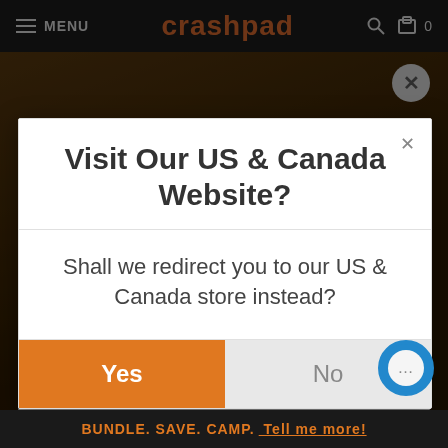MENU  crashpad  0
[Figure (screenshot): Darkened background webpage with brown/dark tones showing a crashpad website]
Visit Our US & Canada Website?
Shall we redirect you to our US & Canada store instead?
Yes
No
Enter your email address
JOIN THE VIP LIST
BUNDLE. SAVE. CAMP. Tell me more!